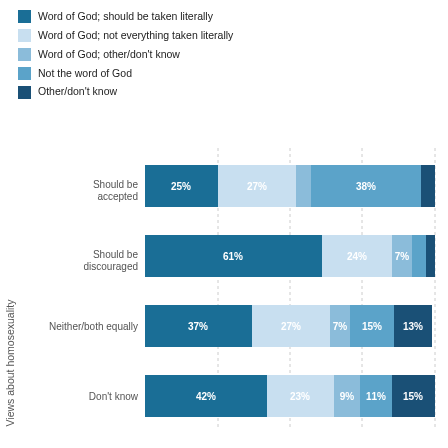[Figure (stacked-bar-chart): Views about homosexuality vs Bible views]